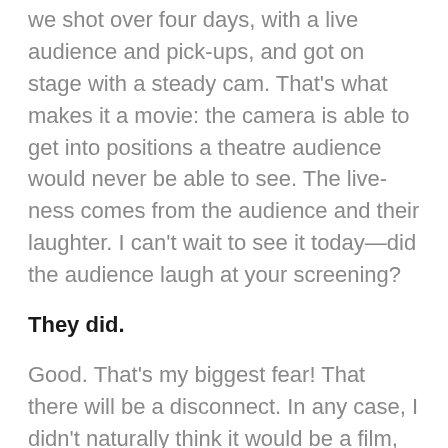we shot over four days, with a live audience and pick-ups, and got on stage with a steady cam. That's what makes it a movie: the camera is able to get into positions a theatre audience would never be able to see. The live-ness comes from the audience and their laughter. I can't wait to see it today—did the audience laugh at your screening?
They did.
Good. That's my biggest fear! That there will be a disconnect. In any case, I didn't naturally think it would be a film, but if you asked me now if I wanted to make a movie of Midsummer—that is, shoot on location—in a